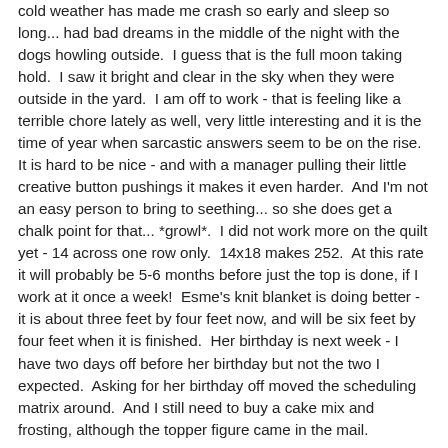cold weather has made me crash so early and sleep so long... had bad dreams in the middle of the night with the dogs howling outside.  I guess that is the full moon taking hold.  I saw it bright and clear in the sky when they were outside in the yard.  I am off to work - that is feeling like a terrible chore lately as well, very little interesting and it is the time of year when sarcastic answers seem to be on the rise.  It is hard to be nice - and with a manager pulling their little creative button pushings it makes it even harder.  And I'm not an easy person to bring to seething... so she does get a chalk point for that... *growl*.  I did not work more on the quilt yet - 14 across one row only.  14x18 makes 252.  At this rate it will probably be 5-6 months before just the top is done, if I work at it once a week!  Esme's knit blanket is doing better - it is about three feet by four feet now, and will be six feet by four feet when it is finished.  Her birthday is next week - I have two days off before her birthday but not the two I expected.  Asking for her birthday off moved the scheduling matrix around.  And I still need to buy a cake mix and frosting, although the topper figure came in the mail.